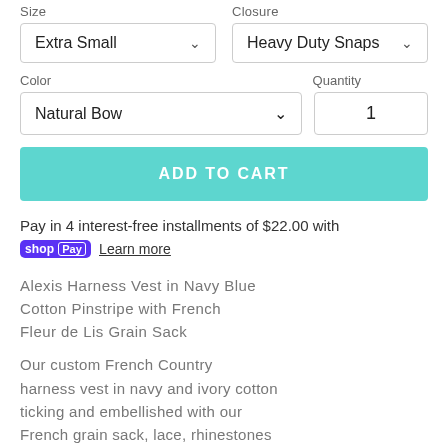Size   Closure
Extra Small   Heavy Duty Snaps
Color   Quantity
Natural Bow   1
ADD TO CART
Pay in 4 interest-free installments of $22.00 with
shopPay Learn more
Alexis Harness Vest in Navy Blue Cotton Pinstripe with French Fleur de Lis Grain Sack
Our custom French Country harness vest in navy and ivory cotton ticking and embellished with our French grain sack, lace, rhinestones and buttons. And a flower or bow of your choice! Lined in 100% cotton.